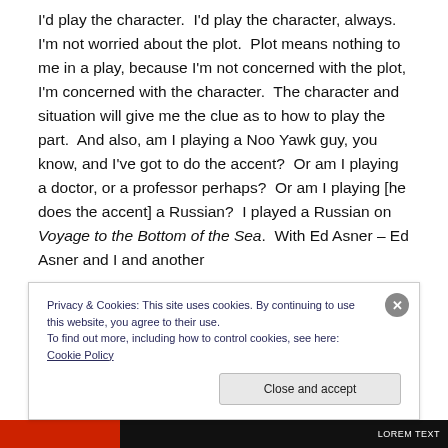I'd play the character.  I'd play the character, always.  I'm not worried about the plot.  Plot means nothing to me in a play, because I'm not concerned with the plot, I'm concerned with the character.  The character and situation will give me the clue as to how to play the part.  And also, am I playing a Noo Yawk guy, you know, and I've got to do the accent?  Or am I playing a doctor, or a professor perhaps?  Or am I playing [he does the accent] a Russian?  I played a Russian on Voyage to the Bottom of the Sea.  With Ed Asner – Ed Asner and I and another
Privacy & Cookies: This site uses cookies. By continuing to use this website, you agree to their use.
To find out more, including how to control cookies, see here: Cookie Policy
Close and accept